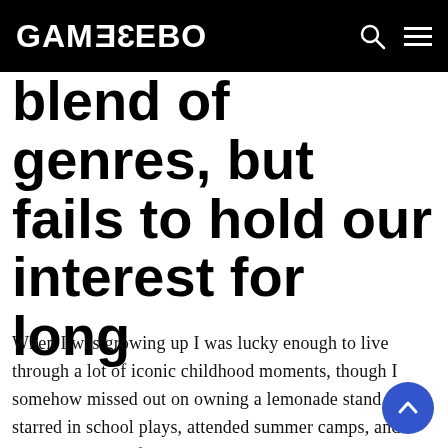GAMEZEBO
blend of genres, but fails to hold our interest for long
When I was growing up I was lucky enough to live through a lot of iconic childhood moments, though I somehow missed out on owning a lemonade stand. I starred in school plays, attended summer camps, and went on a slew of trips via my Boy Scount troop, but I always felt a little twinge whenever I saw kids neighborhood selling juice on hot summer days.